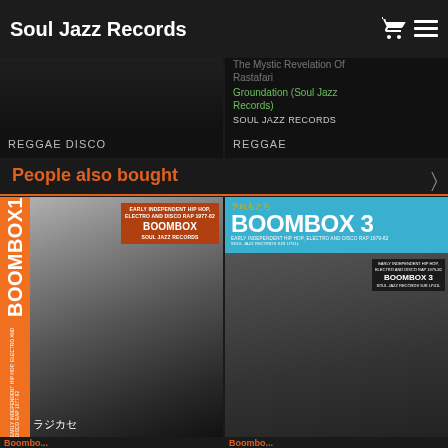Soul Jazz Records
Clive's Reggae Rockers
The Mystic Revelation Of Rastafari
Groundation (Soul Jazz Records)
SOUL JAZZ RECORDS
REGGAE DISCO
REGGAE
People also bought
[Figure (photo): Boombox 1 album cover — early independent hip hop, electro and disco rap 1977-82, Soul Jazz Records. Shows black and white photo of a man with a boombox with orange spine text reading BOOMBOX 1 and Japanese text ラジカセ.]
[Figure (photo): Boombox 3 album cover — early independent hip hop, electro and disco rap 1979-82, Soul Jazz Records. Shows a man in sunglasses with blue header and graffiti background.]
Boombo...
Boombo...